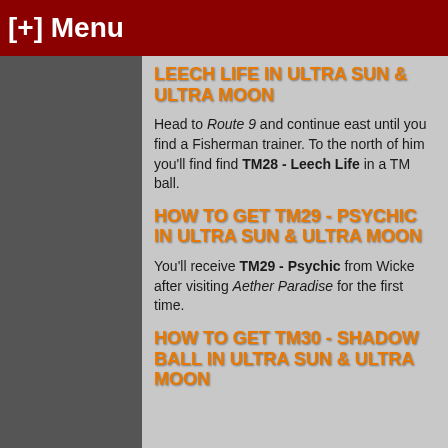[+] Menu
LEECH LIFE IN ULTRA SUN & ULTRA MOON
Head to Route 9 and continue east until you find a Fisherman trainer. To the north of him you'll find find TM28 - Leech Life in a TM ball.
HOW TO GET TM29 - PSYCHIC IN ULTRA SUN & ULTRA MOON
You'll receive TM29 - Psychic from Wicke after visiting Aether Paradise for the first time.
HOW TO GET TM30 - SHADOW BALL IN ULTRA SUN & ULTRA MOON